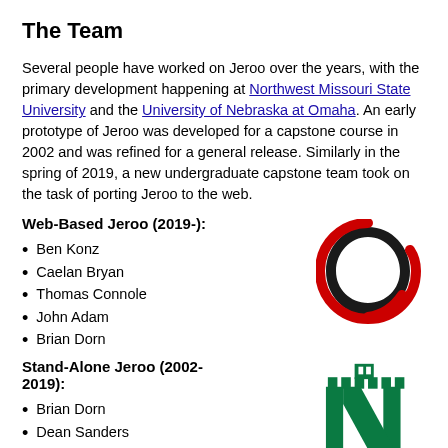The Team
Several people have worked on Jeroo over the years, with the primary development happening at Northwest Missouri State University and the University of Nebraska at Omaha. An early prototype of Jeroo was developed for a capstone course in 2002 and was refined for a general release. Similarly in the spring of 2019, a new undergraduate capstone team took on the task of porting Jeroo to the web.
Web-Based Jeroo (2019-):
Ben Konz
Caelan Bryan
Thomas Connole
John Adam
Brian Dorn
[Figure (logo): University of Nebraska at Omaha logo - stylized red and black letter O]
Stand-Alone Jeroo (2002-2019):
Brian Dorn
Dean Sanders
[Figure (logo): Northwest Missouri State University logo - green letter N with tower]